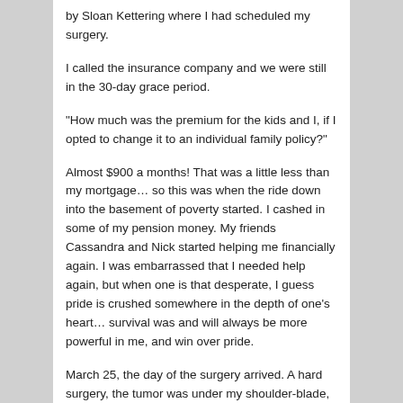by Sloan Kettering where I had scheduled my surgery.
I called the insurance company and we were still in the 30-day grace period.
“How much was the premium for the kids and I, if I opted to change it to an individual family policy?”
Almost $900 a months! That was a little less than my mortgage… so this was when the ride down into the basement of poverty started. I cashed in some of my pension money. My friends Cassandra and Nick started helping me financially again. I was embarrassed that I needed help again, but when one is that desperate, I guess pride is crushed somewhere in the depth of one’s heart… survival was and will always be more powerful in me, and win over pride.
March 25, the day of the surgery arrived. A hard surgery, the tumor was under my shoulder-blade, but I really was in the best of hands… and immediately after the surgery